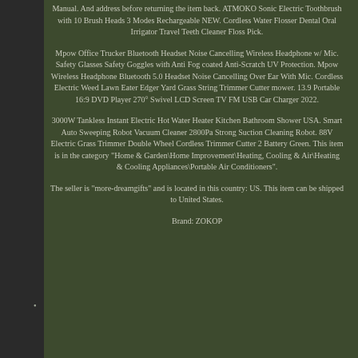Manual. And address before returning the item back. ATMOKO Sonic Electric Toothbrush with 10 Brush Heads 3 Modes Rechargeable NEW. Cordless Water Flosser Dental Oral Irrigator Travel Teeth Cleaner Floss Pick.
Mpow Office Trucker Bluetooth Headset Noise Cancelling Wireless Headphone w/ Mic. Safety Glasses Safety Goggles with Anti Fog coated Anti-Scratch UV Protection. Mpow Wireless Headphone Bluetooth 5.0 Headset Noise Cancelling Over Ear With Mic. Cordless Electric Weed Lawn Eater Edger Yard Grass String Trimmer Cutter mower. 13.9 Portable 16:9 DVD Player 270° Swivel LCD Screen TV FM USB Car Charger 2022.
3000W Tankless Instant Electric Hot Water Heater Kitchen Bathroom Shower USA. Smart Auto Sweeping Robot Vacuum Cleaner 2800Pa Strong Suction Cleaning Robot. 88V Electric Grass Trimmer Double Wheel Cordless Trimmer Cutter 2 Battery Green. This item is in the category "Home & Garden\Home Improvement\Heating, Cooling & Air\Heating & Cooling Appliances\Portable Air Conditioners".
The seller is "more-dreamgifts" and is located in this country: US. This item can be shipped to United States.
Brand: ZOKOP